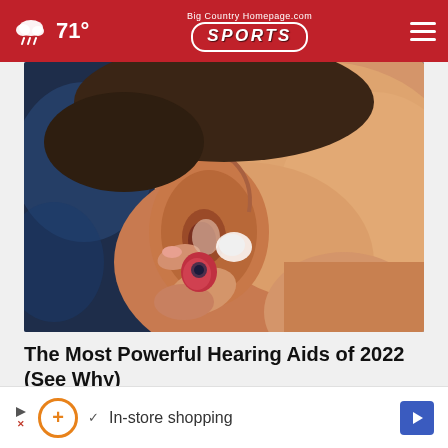71° | BigCountryHomepage.com SPORTS
[Figure (photo): Close-up photo of a person inserting a small red and clear hearing aid into their ear, with fingers visible holding the device.]
The Most Powerful Hearing Aids of 2022 (See Why)
hear.com
✕
In-store shopping